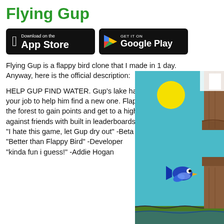Flying Gup
[Figure (logo): App Store download badge (black, Apple logo)]
[Figure (logo): Google Play download badge (black, colorful play triangle logo)]
Flying Gup is a flappy bird clone that I made in 1 day. Anyway, here is the official description:
HELP GUP FIND WATER. Gup's lake has dried out and it is your job to help him find a new one. Flap and fly through the forest to gain points and get to a higher level. Compete against friends with built in leaderboards.
"I hate this game, let Gup dry out" -Beta Tester
"Better than Flappy Bird" -Developer
"kinda fun i guess!" -Addie Hogan
[Figure (screenshot): Screenshot of Flying Gup game showing a blue cartoon fish bird flying through obstacle pipes, with a yellow sun in a teal sky and green ground.]